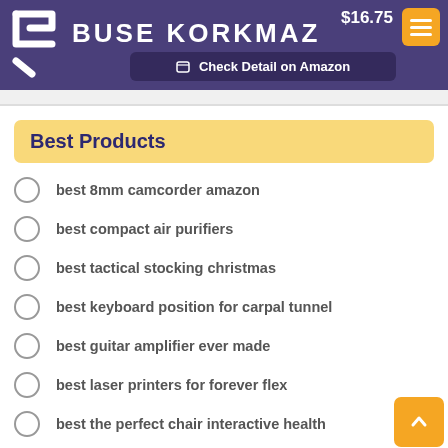BUSE KORKMAZ — $16.75 — Check Detail on Amazon
Best Products
best 8mm camcorder amazon
best compact air purifiers
best tactical stocking christmas
best keyboard position for carpal tunnel
best guitar amplifier ever made
best laser printers for forever flex
best the perfect chair interactive health